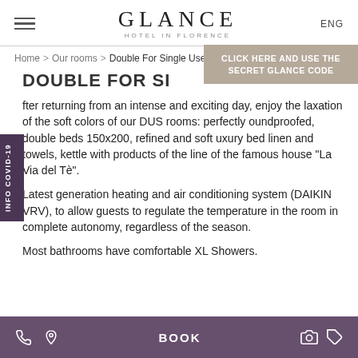GLANCE HOTEL IN FLORENCE | ENG
Home > Our rooms > Double For Single Use
DOUBLE FOR SI
CLICK HERE AND USE THE SECRET GLANCE CODE
INFO COVID-19
fter returning from an intense and exciting day, enjoy the laxation of the soft colors of our DUS rooms: perfectly oundproofed, double beds 150x200, refined and soft uxury bed linen and towels, kettle with products of the line of the famous house "La Via del Tè".
Latest generation heating and air conditioning system (DAIKIN VRV), to allow guests to regulate the temperature in the room in complete autonomy, regardless of the season.
Most bathrooms have comfortable XL Showers.
BOOK